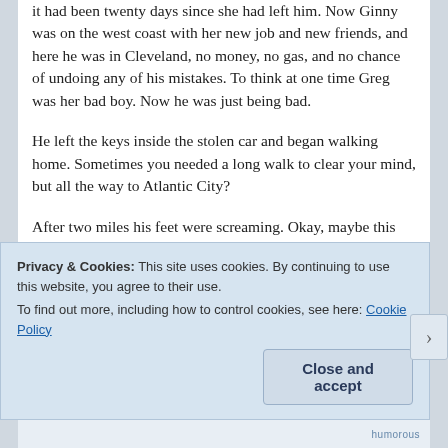it had been twenty days since she had left him. Now Ginny was on the west coast with her new job and new friends, and here he was in Cleveland, no money, no gas, and no chance of undoing any of his mistakes. To think at one time Greg was her bad boy. Now he was just being bad.
He left the keys inside the stolen car and began walking home. Sometimes you needed a long walk to clear your mind, but all the way to Atlantic City?
After two miles his feet were screaming. Okay, maybe this walk was a bit melodramatic, but it would be a great story to tell Ginny's sister. She was hotter anyway.
Privacy & Cookies: This site uses cookies. By continuing to use this website, you agree to their use.
To find out more, including how to control cookies, see here: Cookie Policy
Close and accept